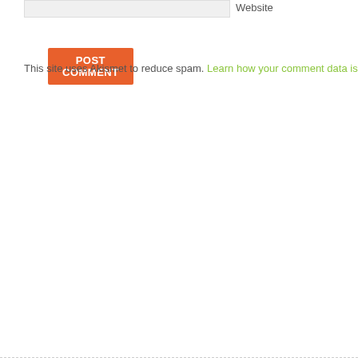Website
POST COMMENT
This site uses Akismet to reduce spam. Learn how your comment data is pro